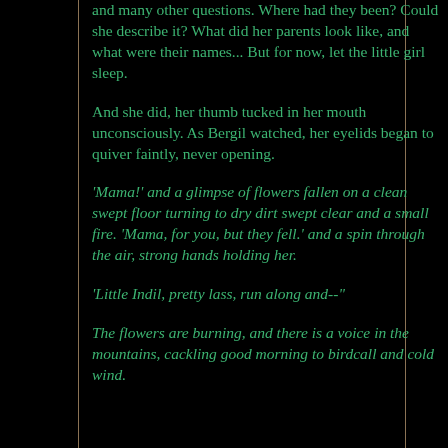and many other questions. Where had they been? Could she describe it? What did her parents look like, and what were their names... But for now, let the little girl sleep.
And she did, her thumb tucked in her mouth unconsciously. As Bergil watched, her eyelids began to quiver faintly, never opening.
'Mama!' and a glimpse of flowers fallen on a clean swept floor turning to dry dirt swept clear and a small fire. 'Mama, for you, but they fell.' and a spin through the air, strong hands holding her.
'Little Indil, pretty lass, run along and--"
The flowers are burning, and there is a voice in the mountains, cackling good morning to birdcall and cold wind.